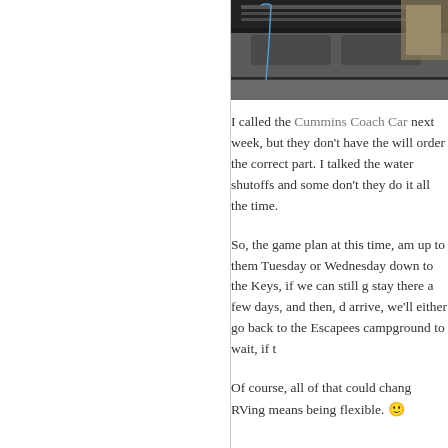[Figure (photo): Partial photo of what appears to be mechanical/engine components, dark metallic parts with cables visible]
I called the Cummins Coach Car next week, but they don't have the will order the correct part. I talked the water shutoffs and some don't they do it all the time.
So, the game plan at this time, am up to them Tuesday or Wednesday down to the Keys, if we can still g stay there a few days, and then, d arrive, we'll either go back to the Escapees campground to wait, if t
Of course, all of that could chang RVing means being flexible. 🙂